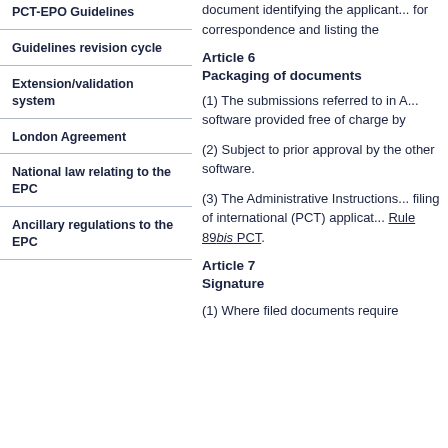PCT-EPO Guidelines
Guidelines revision cycle
Extension/validation system
London Agreement
National law relating to the EPC
Ancillary regulations to the EPC
document identifying the applicant... for correspondence and listing the
Article 6
Packaging of documents
(1) The submissions referred to in A... software provided free of charge by
(2) Subject to prior approval by the other software.
(3) The Administrative Instructions... filing of international (PCT) applicat... Rule 89bis PCT.
Article 7
Signature
(1) Where filed documents require